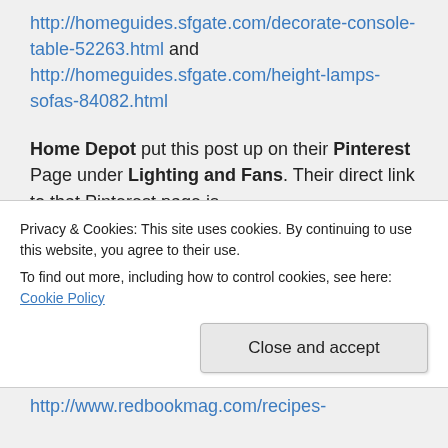http://homeguides.sfgate.com/decorate-console-table-52263.html and http://homeguides.sfgate.com/height-lamps-sofas-84082.html
Home Depot put this post up on their Pinterest Page under Lighting and Fans. Their direct link to that Pinterest page is http://pinterest.com/homedepot/lighting-fans/
Privacy & Cookies: This site uses cookies. By continuing to use this website, you agree to their use.
To find out more, including how to control cookies, see here: Cookie Policy
http://www.redbookmag.com/recipes-